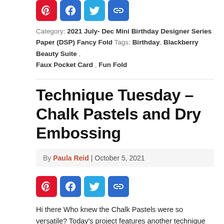[Figure (other): Row of four social share icon buttons: Pinterest (red), Facebook (blue), Twitter (cyan), Link (blue) — partially cropped at top of page]
Category: 2021 July- Dec Mini  Birthday  Designer Series Paper (DSP)  Fancy Fold  Tags: Birthday ,  Blackberry Beauty Suite ,  Faux Pocket Card ,  Fun Fold
Technique Tuesday – Chalk Pastels and Dry Embossing
By Paula Reid | October 5, 2021
[Figure (other): Row of four social share icon buttons: Pinterest (red), Facebook (blue), Twitter (cyan), Link (blue)]
Hi there Who knew the Chalk Pastels were so versatile? Today's project features another technique for you to try with the Chalk Pastels and an Embossing Folder. I've chosen the Seashells 3D Embossing Folder. These aren't